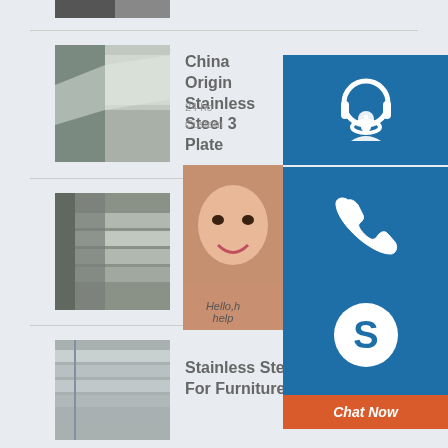[Figure (photo): Partial product thumbnail visible at top of page]
China Origin Stainless Steel 3... Plate
24 ho... Custom...
[Figure (photo): Stainless steel plates stacked product photo]
7.1mm 9.0mm 10.7mm ro...
[Figure (photo): Stainless steel sheets stacked product photo]
Stainless Steel Sheet For Furniture
[Figure (infographic): Customer service overlay with headset icon, phone icon, Skype icon, chat panel with Hello message and Chat Now button]